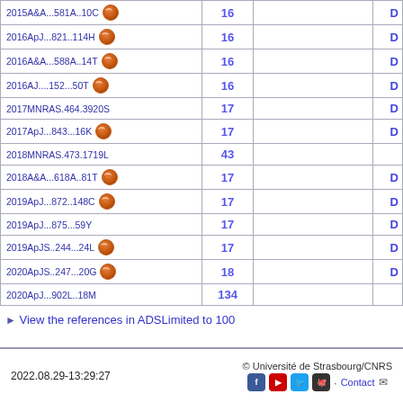| Reference | Num |  | D |
| --- | --- | --- | --- |
| 2015A&A...581A..10C [VizieR] | 16 |  | D |
| 2016ApJ...821..114H [VizieR] | 16 |  | D |
| 2016A&A...588A..14T [VizieR] | 16 |  | D |
| 2016AJ....152...50T [VizieR] | 16 |  | D |
| 2017MNRAS.464.3920S | 17 |  | D |
| 2017ApJ...843...16K [VizieR] | 17 |  | D |
| 2018MNRAS.473.1719L | 43 |  |  |
| 2018A&A...618A..81T [VizieR] | 17 |  | D |
| 2019ApJ...872..148C [VizieR] | 17 |  | D |
| 2019ApJ...875...59Y | 17 |  | D |
| 2019ApJS..244...24L [VizieR] | 17 |  | D |
| 2020ApJS..247...20G [VizieR] | 18 |  | D |
| 2020ApJ...902L..18M | 134 |  |  |
▶ View the references in ADS Limited to 100
2022.08.29-13:29:27 © Université de Strasbourg/CNRS Contact